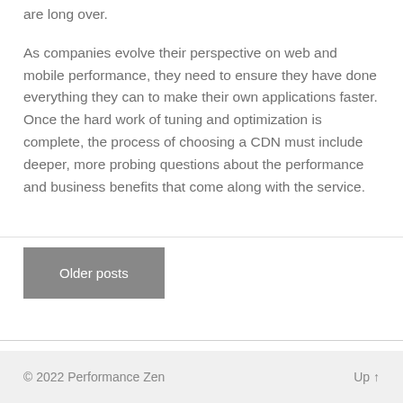are long over.
As companies evolve their perspective on web and mobile performance, they need to ensure they have done everything they can to make their own applications faster. Once the hard work of tuning and optimization is complete, the process of choosing a CDN must include deeper, more probing questions about the performance and business benefits that come along with the service.
Older posts
© 2022 Performance Zen    Up ↑